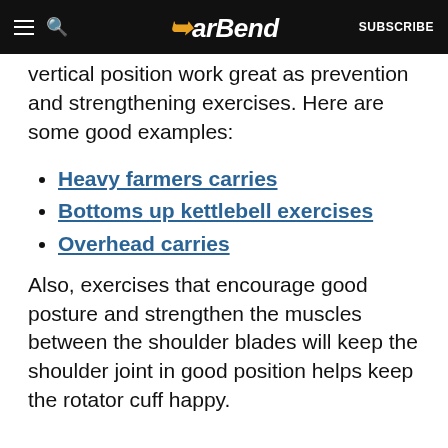BarBend | SUBSCRIBE
vertical position work great as prevention and strengthening exercises. Here are some good examples:
Heavy farmers carries
Bottoms up kettlebell exercises
Overhead carries
Also, exercises that encourage good posture and strengthen the muscles between the shoulder blades will keep the shoulder joint in good position helps keep the rotator cuff happy.